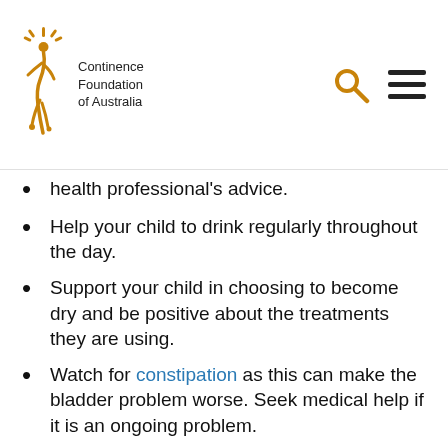Continence Foundation of Australia
health professional's advice.
Help your child to drink regularly throughout the day.
Support your child in choosing to become dry and be positive about the treatments they are using.
Watch for constipation as this can make the bladder problem worse. Seek medical help if it is an ongoing problem.
If your child is using a bedwetting alarm, get up when it goes off and help to wake them up and change their clothes or sheets.
Make sure there is enough light at night